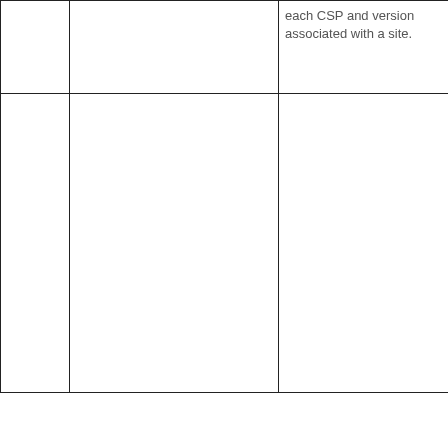|  |  | each CSP and version associated with a site. |
|  |  |  |